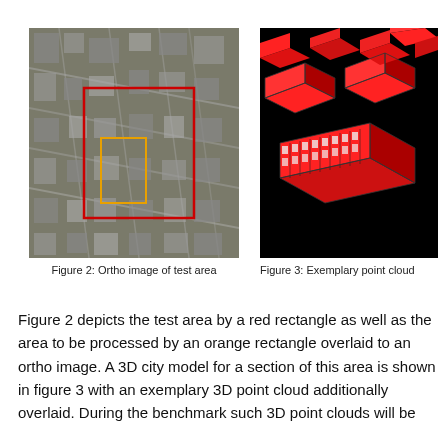[Figure (photo): Aerial ortho image of an urban test area with a red rectangle marking the test area and an orange/yellow rectangle marking the area to be processed.]
Figure 2: Ortho image of test area
[Figure (photo): Exemplary 3D point cloud of city buildings rendered in red against a black background, showing 3D city model structures.]
Figure 3: Exemplary point cloud
Figure 2 depicts the test area by a red rectangle as well as the area to be processed by an orange rectangle overlaid to an ortho image. A 3D city model for a section of this area is shown in figure 3 with an exemplary 3D point cloud additionally overlaid. During the benchmark such 3D point clouds will be